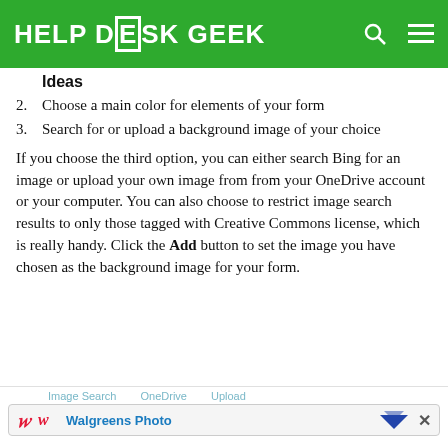HELP DESK GEEK
Ideas
2. Choose a main color for elements of your form
3. Search for or upload a background image of your choice
If you choose the third option, you can either search Bing for an image or upload your own image from from your OneDrive account or your computer. You can also choose to restrict image search results to only those tagged with Creative Commons license, which is really handy. Click the Add button to set the image you have chosen as the background image for your form.
[Figure (screenshot): Advertisement banner showing Walgreens Photo with navigation tabs for Image Search, OneDrive, Upload and a close button]